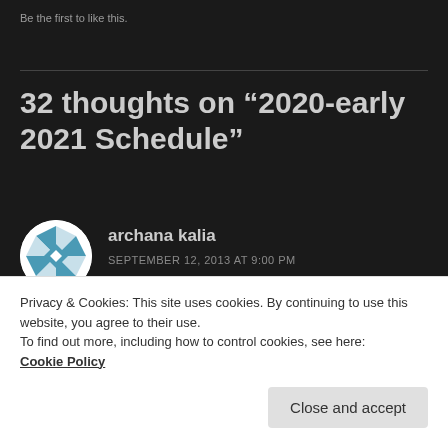Be the first to like this.
32 thoughts on “2020-early 2021 Schedule”
[Figure (illustration): Circular avatar with blue and white geometric/quilt pattern]
archana kalia
SEPTEMBER 12, 2013 AT 9:00 PM
I would be interested to know the charges for sat
Privacy & Cookies: This site uses cookies. By continuing to use this website, you agree to their use.
To find out more, including how to control cookies, see here:
Cookie Policy
Close and accept